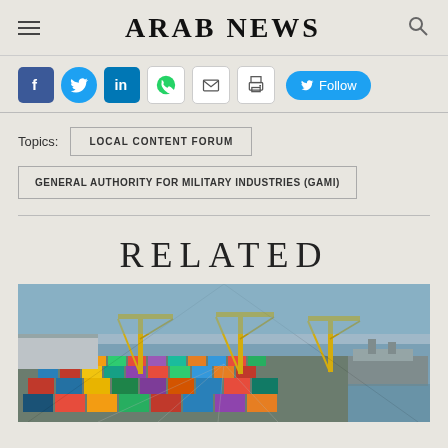ARAB NEWS
[Figure (other): Social media sharing icons: Facebook, Twitter, LinkedIn, WhatsApp, Email, Print, and a Twitter Follow button]
Topics: LOCAL CONTENT FORUM
GENERAL AUTHORITY FOR MILITARY INDUSTRIES (GAMI)
RELATED
[Figure (photo): Aerial photo of a busy container port with colorful shipping containers, yellow cranes, and ships at dock]